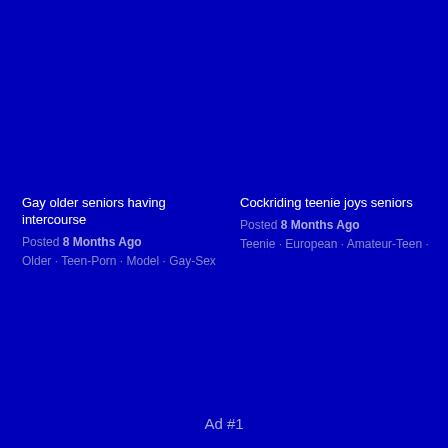Gay older seniors having intercourse
Posted 8 Months Ago
Older · Teen-Porn · Model · Gay-Sex
Cockriding teenie joys seniors
Posted 8 Months Ago
Teenie · European · Amateur-Teen ·
Ad #1